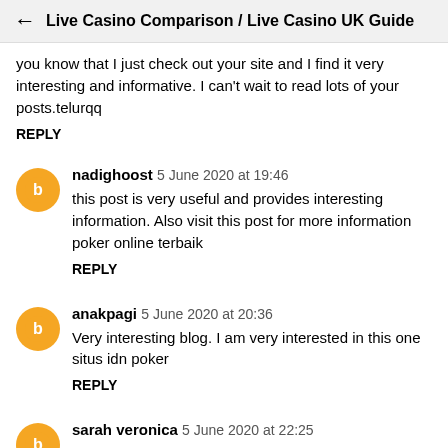← Live Casino Comparison / Live Casino UK Guide
you know that I just check out your site and I find it very interesting and informative. I can't wait to read lots of your posts.telurqq
REPLY
nadighoost  5 June 2020 at 19:46
this post is very useful and provides interesting information. Also visit this post for more information poker online terbaik
REPLY
anakpagi  5 June 2020 at 20:36
Very interesting blog. I am very interested in this one situs idn poker
REPLY
sarah veronica  5 June 2020 at 22:25
this article really really can make me become